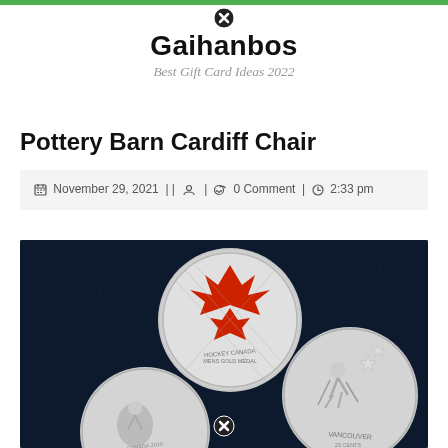Gaihanbos — Best Gift Card Ideas 2022
Pottery Barn Cardiff Chair
November 29, 2021 | | 👤 | 💬 0 Comment | 🕐 2:33 pm
[Figure (photo): Three silver collector coins on a dark blue/black background. The center coin shows a Canadian maple leaf in red enamel with a hockey player design. Lower left coin partially visible shows another sports figure. Right coin shows a skiing figure with 'Vancouver' text.]